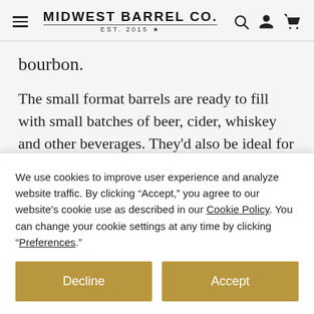MIDWEST BARREL CO. EST. 2015
bourbon.
The small format barrels are ready to fill with small batches of beer, cider, whiskey and other beverages. They'd also be ideal for maple syrup
We use cookies to improve user experience and analyze website traffic. By clicking “Accept,” you agree to our website’s cookie use as described in our Cookie Policy. You can change your cookie settings at any time by clicking “Preferences.”
Decline
Accept